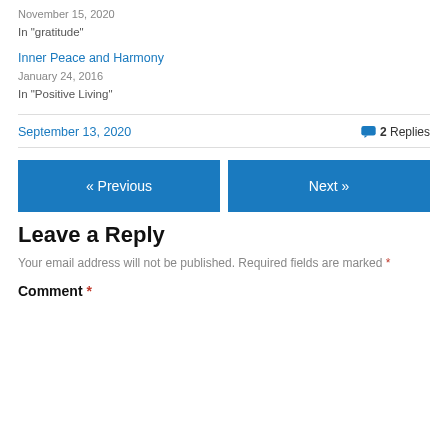November 15, 2020
In "gratitude"
Inner Peace and Harmony
January 24, 2016
In "Positive Living"
September 13, 2020   2 Replies
« Previous
Next »
Leave a Reply
Your email address will not be published. Required fields are marked *
Comment *